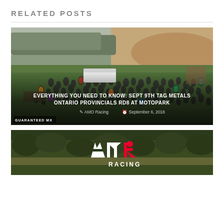RELATED POSTS
[Figure (photo): Aerial view of a motocross event at Motopark, with large crowd of spectators on a grassy hillside, dirt track visible in background, food truck and equipment visible.]
EVERYTHING YOU NEED TO KNOW: SEPT 9TH TAG METALS ONTARIO PROVINCIALS RD8 AT MOTOPARK
AMO Racing  September 6, 2018
[Figure (photo): AMO Racing logo on green foliage background — partial view of second related post card.]